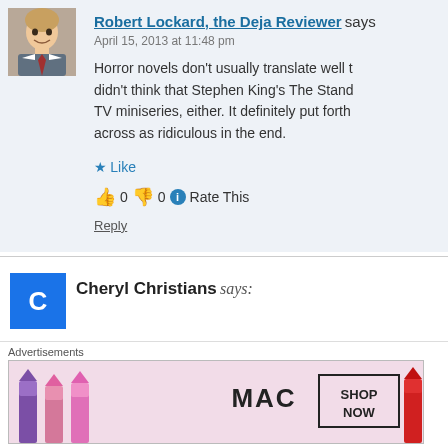[Figure (photo): Avatar photo of Robert Lockard, a man in a suit smiling]
Robert Lockard, the Deja Reviewer says
April 15, 2013 at 11:48 pm
Horror novels don't usually translate well t didn't think that Stephen King's The Stand TV miniseries, either. It definitely put forth across as ridiculous in the end.
Like
👍 0 👎 0 ℹ Rate This
Reply
[Figure (logo): Blue square avatar with stylized letters for Cheryl Christians]
Cheryl Christians says:
Advertisements
[Figure (photo): MAC cosmetics advertisement showing lipsticks with SHOP NOW text]